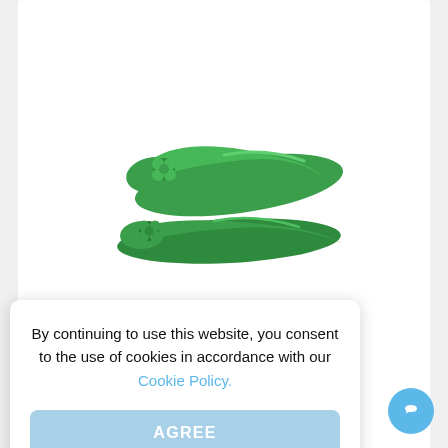[Figure (photo): A pair of green ballet flat shoes with flower/bow detail on toe, photographed from above at an angle on a white background.]
By continuing to use this website, you consent to the use of cookies in accordance with our Cookie Policy.
AGREE
artec 20 ml Light n 38
€3.99